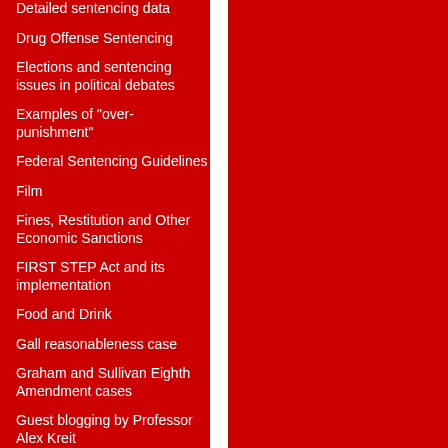Detailed sentencing data
Drug Offense Sentencing
Elections and sentencing issues in political debates
Examples of "over-punishment"
Federal Sentencing Guidelines
Film
Fines, Restitution and Other Economic Sanctions
FIRST STEP Act and its implementation
Food and Drink
Gall reasonableness case
Graham and Sullivan Eighth Amendment cases
Guest blogging by Professor Alex Kreit
Guest blogging by